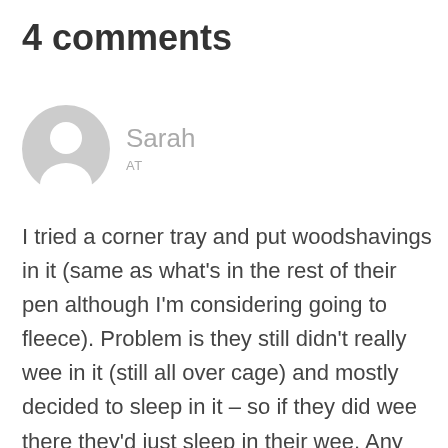4 comments
Sarah
AT
I tried a corner tray and put woodshavings in it (same as what's in the rest of their pen although I'm considering going to fleece). Problem is they still didn't really wee in it (still all over cage) and mostly decided to sleep in it – so if they did wee there they'd just sleep in their wee. Any ideas?